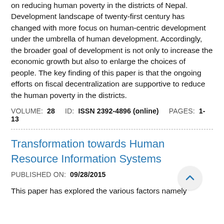on reducing human poverty in the districts of Nepal. Development landscape of twenty-first century has changed with more focus on human-centric development under the umbrella of human development. Accordingly, the broader goal of development is not only to increase the economic growth but also to enlarge the choices of people. The key finding of this paper is that the ongoing efforts on fiscal decentralization are supportive to reduce the human poverty in the districts.
VOLUME: 28   ID: ISSN 2392-4896 (online)   PAGES: 1-13
Transformation towards Human Resource Information Systems
PUBLISHED ON: 09/28/2015
This paper has explored the various factors namely